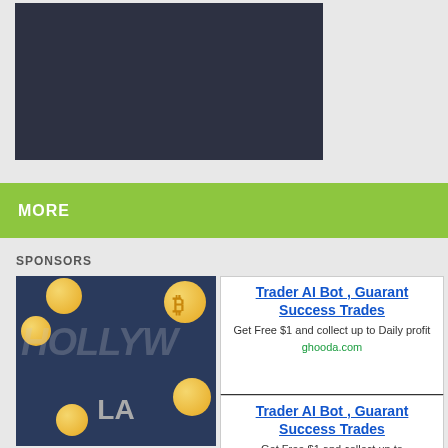[Figure (screenshot): Dark navy/charcoal video player area]
MORE
SPONSORS
[Figure (illustration): Dark themed illustration with Hollywood text, Bitcoin coins, LA character]
Trader AI Bot , Guarant Success Trades
Get Free $1 and collect up to Daily profit
ghooda.com
Trader AI Bot , Guarant Success Trades
Get Free $1 and collect up to